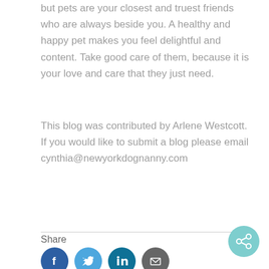but pets are your closest and truest friends who are always beside you. A healthy and happy pet makes you feel delightful and content. Take good care of them, because it is your love and care that they just need.
This blog was contributed by Arlene Westcott. If you would like to submit a blog please email cynthia@newyorkdognanny.com
Share